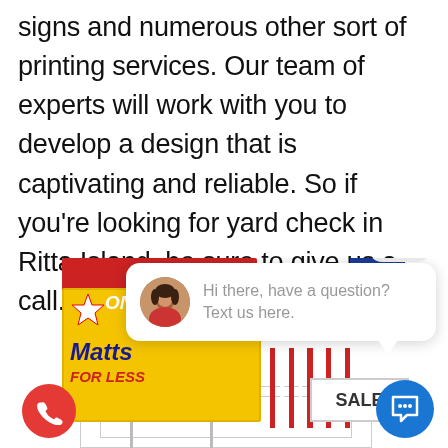signs and numerous other sort of printing services. Our team of experts will work with you to develop a design that is captivating and reliable. So if you're looking for yard check in Ritta Island, be sure to give us a call.
[Figure (screenshot): A composite illustration of yard signs with a chat popup overlay. Shows red, yellow, and blue yard signs with text 'Matts FOR LESS' and 'SALE'. A chat bubble popup shows an avatar of a woman and text 'Hi there, have a question? Text us here.' with a close button. Bottom left has a red phone button, bottom right has a blue chat widget button.]